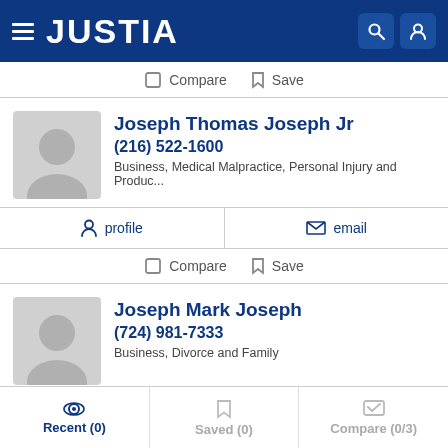JUSTIA
Compare  Save
Joseph Thomas Joseph Jr
(216) 522-1600
Business, Medical Malpractice, Personal Injury and Produc...
profile   email
Compare  Save
Joseph Mark Joseph
(724) 981-7333
Business, Divorce and Family
Recent (0)   Saved (0)   Compare (0/3)